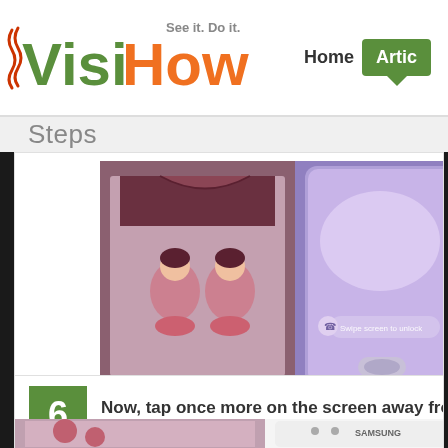[Figure (logo): VisiHow logo with tagline 'See it. Do it.' in green and orange colors]
Home   Articles
Steps
[Figure (screenshot): Screenshot showing a mobile phone screen with decorative artwork and a Samsung phone lock screen with 'Swipe screen to unlock' text]
6  Now, tap once more on the screen away from the
[Figure (screenshot): Partial screenshot showing another Samsung phone with decorative content]